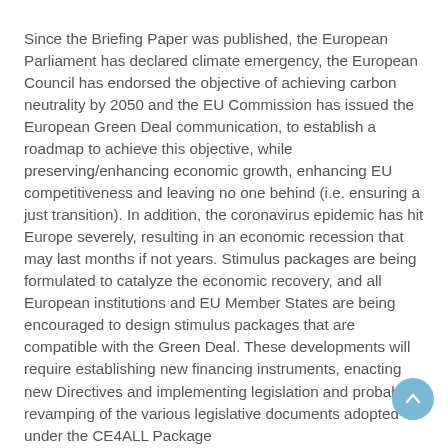Since the Briefing Paper was published, the European Parliament has declared climate emergency, the European Council has endorsed the objective of achieving carbon neutrality by 2050 and the EU Commission has issued the European Green Deal communication, to establish a roadmap to achieve this objective, while preserving/enhancing economic growth, enhancing EU competitiveness and leaving no one behind (i.e. ensuring a just transition). In addition, the coronavirus epidemic has hit Europe severely, resulting in an economic recession that may last months if not years. Stimulus packages are being formulated to catalyze the economic recovery, and all European institutions and EU Member States are being encouraged to design stimulus packages that are compatible with the Green Deal. These developments will require establishing new financing instruments, enacting new Directives and implementing legislation and probably a revamping of the various legislative documents adopted under the CE4ALL Package...